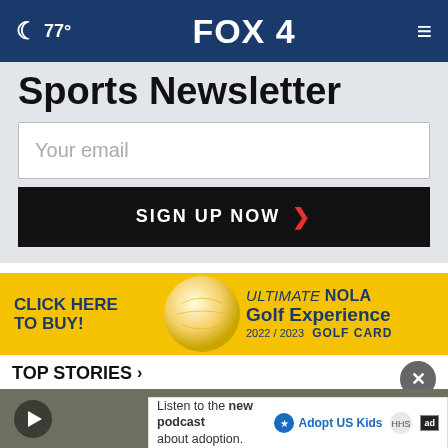🌙 77° FOX 4
Sports Newsletter
Your email
SIGN UP NOW ❯
[Figure (infographic): Advertisement banner with yellow background showing a golf ball, text 'CLICK HERE TO BUY!' and 'ULTIMATE NOLA Golf Experience 2022/2023 GOLF CARD']
TOP STORIES ›
[Figure (screenshot): Video thumbnail with play button]
Listen to the new podcast about adoption.